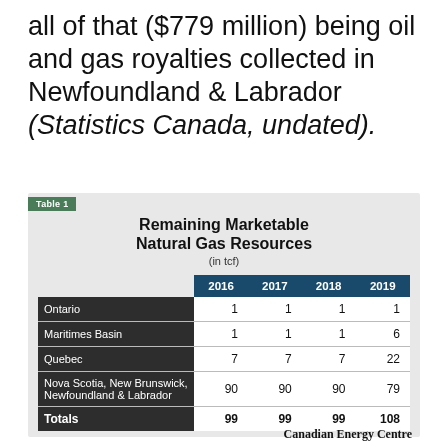all of that ($779 million) being oil and gas royalties collected in Newfoundland & Labrador (Statistics Canada, undated).
|  | 2016 | 2017 | 2018 | 2019 |
| --- | --- | --- | --- | --- |
| Ontario | 1 | 1 | 1 | 1 |
| Maritimes Basin | 1 | 1 | 1 | 6 |
| Quebec | 7 | 7 | 7 | 22 |
| Nova Scotia, New Brunswick, Newfoundland & Labrador | 90 | 90 | 90 | 79 |
| Totals | 99 | 99 | 99 | 108 |
Canadian Energy Centre